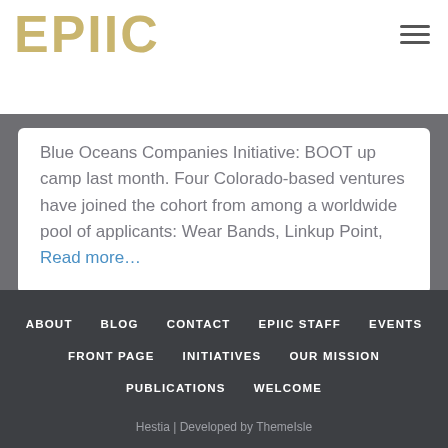EPIIC
Blue Oceans Companies Initiative: BOOT up camp last month. Four Colorado-based ventures have joined the cohort from among a worldwide pool of applicants: Wear Bands, Linkup Point, Read more...
ABOUT  BLOG  CONTACT  EPIIC STAFF  EVENTS  FRONT PAGE  INITIATIVES  OUR MISSION  PUBLICATIONS  WELCOME
Hestia | Developed by ThemeIsle